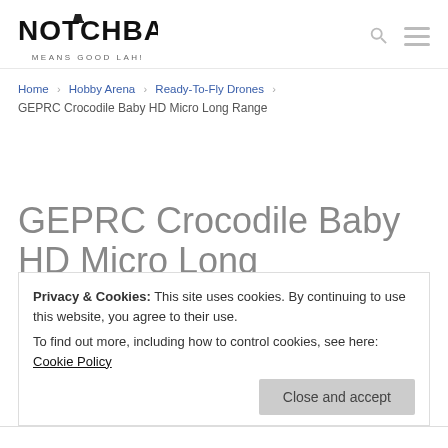NOTCHBAD MEANS GOOD LAH!
Home › Hobby Arena › Ready-To-Fly Drones › GEPRC Crocodile Baby HD Micro Long Range
GEPRC Crocodile Baby HD Micro Long
Privacy & Cookies: This site uses cookies. By continuing to use this website, you agree to their use.
To find out more, including how to control cookies, see here: Cookie Policy
Close and accept